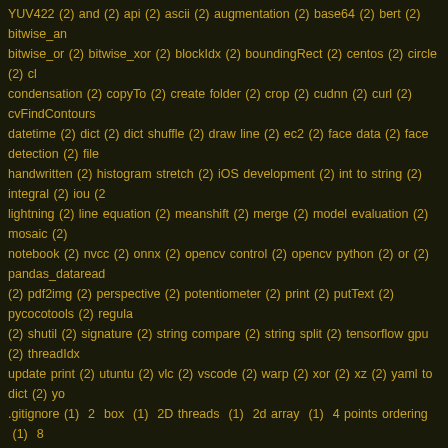YUV422 (2) and (2) api (2) ascii (2) augmentation (2) base64 (2) bert (2) bitwise_and (2) bitwise_or (2) bitwise_xor (2) blockIdx (2) boundingRect (2) centos (2) circle (2) clahe (2) condensation (2) copyTo (2) create folder (2) crop (2) cudnn (2) curl (2) cvFindContours (2) datetime (2) dict (2) dict shuffle (2) draw line (2) ec2 (2) face data (2) face detection (2) file (2) handwritten (2) histogram stretch (2) iOS development (2) int to string (2) integral (2) iou (2) lightning (2) line equation (2) meanshift (2) merge (2) model evaluation (2) mosaic (2) notebook (2) nvcc (2) onnx (2) opencv control (2) opencv python (2) or (2) pandas_dataread (2) pdf2img (2) perspective (2) potentiometer (2) print (2) putText (2) pycocotools (2) regularization (2) shutil (2) signature (2) string compare (2) string split (2) tensorflow gpu (2) threadIdx (2) update print (2) utuntu (2) vlc (2) vscode (2) warp (2) xor (2) xz (2) yaml to dict (2) yolo (2) .gitignore (1) 2 box (1) 2D threads (1) 2d array (1) 4 points ordering (1) 8 bits (1) ADAPTIVE_THRESH_GAUSSIAN_C (1) ADAPTIVE_THRESH_MEAN_C (1) AMP (1) ANR (1) AdamOptimizer (1) AdaptiveThreshold (1) Add row to mat (1) AfxExtractSubString (1) Armadillo (1) Autoencoder (1) Azure function (1) BERT Tokenizer (1) BackgroundSubtractor (1) Blob labeling (1) Boosting Tracker (1) BringWindowToTop (1) Bumblebee (1) ByteString (1) CERTIFICATE_VERIFY_FAILED (1) CFileDialog (1) CIPAddressCtrl (1) CNN (1) CString to string (1) CUDA by example (1) CUDA_ARCH_BIN (1) CV_CAP_PROP_FPS (1) CV_CAP_PROP_FRAME_WIDTH (1) CV_HOUGH_GRADIENT (1) CV_THRESH_BINARY (1) CameraParams (1) CascadeClassifier (1) CascadeClassifier_GPU (1) Clone (1) ColorMap (1) convert (1) Container (1) Creating DLL (1) CrossEntropyLoss (1) Cstring to int (1) DDPPlugin (1) DataReader (1) Decode (1) Docker command (1) Download s3 object as opencv image then upload too (1) Driver (1) ECR (1) Edge (1) Elastic (1) EnumWindows (1) Extract File Name (1) FastFeatureDetector (1) Feature extraction (1) File Ext (1) File Path (1) File delete (1) FileNodeIterator (1) FileStorage (1) Filter (1) Floyd–Steinberg (1) GaussianBlur (1) GetAddress (1) GetMacAddress (1) GetProcessId (1) GetTrakCount (1) Github (1) HSV to opencv (1)